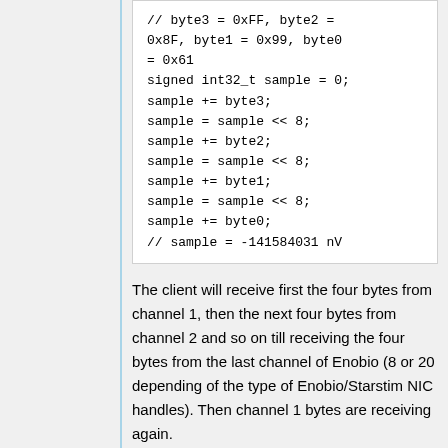[Figure (other): Code block showing byte assembly into signed int32_t sample with comments showing byte values and result]
The client will receive first the four bytes from channel 1, then the next four bytes from channel 2 and so on till receiving the four bytes from the last channel of Enobio (8 or 20 depending of the type of Enobio/Starstim NIC handles). Then channel 1 bytes are receiving again.
The following link contains Matlab &